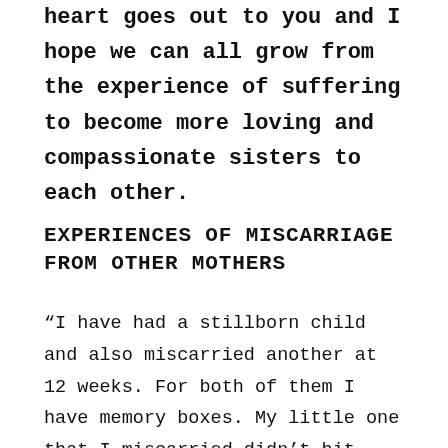heart goes out to you and I hope we can all grow from the experience of suffering to become more loving and compassionate sisters to each other.
EXPERIENCES OF MISCARRIAGE FROM OTHER MOTHERS
“I have had a stillborn child and also miscarried another at 12 weeks. For both of them I have memory boxes. My little one that I miscarried didn’t hit that 20 week mark to have a birth certificate – so I made her one myself. Not that I needed it to validate her life, but it helped at the time. We